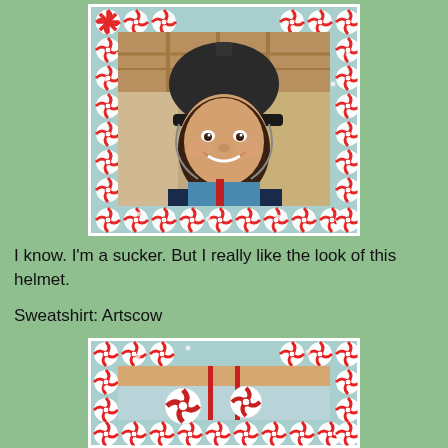[Figure (photo): Person wearing a black equestrian/riding helmet, smiling, in an indoor riding arena. The photo has a light blue peppermint candy decorative border.]
I know. I'm a sucker. But I really like the look of this helmet.
Sweatshirt: Artscow
[Figure (photo): Close-up of a light blue hoodie sweatshirt with red drawstrings and a peppermint candy graphic print, framed by the same peppermint candy decorative border.]